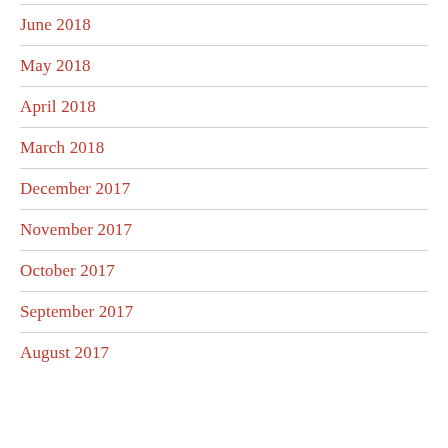June 2018
May 2018
April 2018
March 2018
December 2017
November 2017
October 2017
September 2017
August 2017